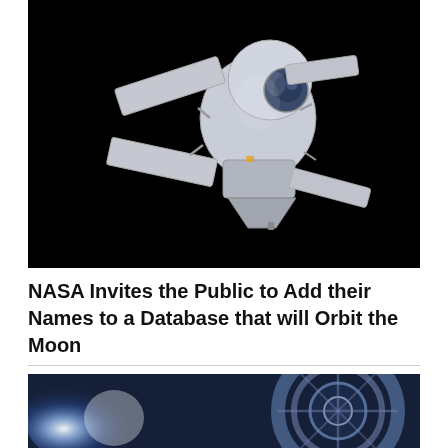[Figure (photo): NASA Orion spacecraft capsule with solar panels deployed against a black background — rendered illustration]
NASA Invites the Public to Add their Names to a Database that will Orbit the Moon
[Figure (photo): Close-up of a spacecraft engine or thruster with bright blue light and metallic components against a dark blue background]